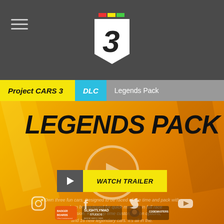Project CARS 3 | DLC | Legends Pack
[Figure (logo): Project CARS 3 logo — stylized number 3 with colored top stripe (red, yellow, green) on white angular background]
LEGENDS PACK
[Figure (illustration): Play button circle in orange/tan on orange gradient background with diagonal stripe decorations]
Own three fun cars. Designed to be raced all the time and pack with ready to be equipped for quick machine in full race conversion. Kitting up time customisation options, and 16 new legendary cars. It's all in the.
[Figure (screenshot): Social media icons: Instagram, Facebook, Twitter, YouTube]
[Figure (other): Watch Trailer button with play icon]
[Figure (logo): Bottom logos: Slightly Mad Studios, Codemasters brand logos]